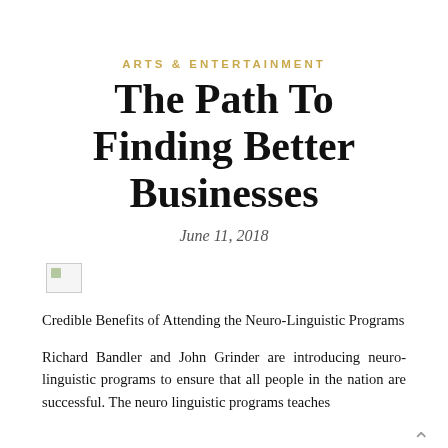ARTS & ENTERTAINMENT
The Path To Finding Better Businesses
June 11, 2018
[Figure (photo): Broken/missing image placeholder]
Credible Benefits of Attending the Neuro-Linguistic Programs
Richard Bandler and John Grinder are introducing neuro-linguistic programs to ensure that all people in the nation are successful. The neuro linguistic programs teaches